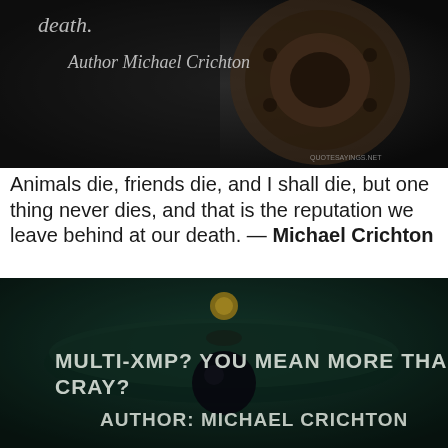[Figure (photo): Dark background image with text overlay: 'death.' and 'Author Michael Crichton' in stylized font. Watermark 'quotesayings.net' in lower right. Dark mechanical/industrial objects visible.]
Animals die, friends die, and I shall die, but one thing never dies, and that is the reputation we leave behind at our death. — Michael Crichton
[Figure (photo): Dark green/teal background image with text overlay in stencil/block font: 'MULTI-XMP? YOU MEAN MORE THAN ONE CRAY?' and 'AUTHOR: MICHAEL CRICHTON'. Dark objects on a rotating platform visible.]